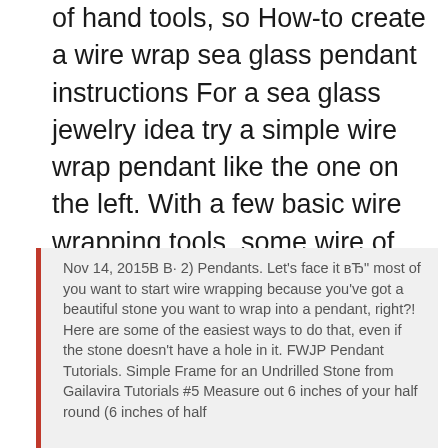of hand tools, so How-to create a wire wrap sea glass pendant instructions For a sea glass jewelry idea try a simple wire wrap pendant like the one on the left. With a few basic wire wrapping tools, some wire of your choice and a piece of sea glass that you have found, create a simple piece of jewelry that will certainly garner attention from your friends.
Nov 14, 2015В В· 2) Pendants. Let's face it вЂ" most of you want to start wire wrapping because you've got a beautiful stone you want to wrap into a pendant, right?! Here are some of the easiest ways to do that, even if the stone doesn't have a hole in it. FWJP Pendant Tutorials. Simple Frame for an Undrilled Stone from Gailavira Tutorials #5 Measure out 6 inches of your half round (6 inches of half